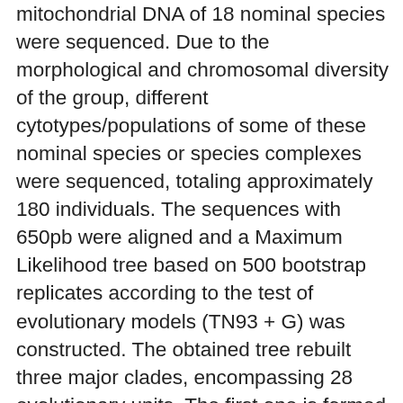mitochondrial DNA of 18 nominal species were sequenced. Due to the morphological and chromosomal diversity of the group, different cytotypes/populations of some of these nominal species or species complexes were sequenced, totaling approximately 180 individuals. The sequences with 650pb were aligned and a Maximum Likelihood tree based on 500 bootstrap replicates according to the test of evolutionary models (TN93 + G) was constructed. The obtained tree rebuilt three major clades, encompassing 28 evolutionary units. The first one is formed by species belonging to the coastal rivers of Brazil, whose morphological characters includes elongated body and hyaline fins. Among the four nominal species, it is suggested there are seven independent evolutionary units. The chromosomal plesiomorphies that support the group are 2n = 50, with a prevalence of acrocentrics, absence of As51 satellite DNA sites; six to 10 5S rDNA sites distributed in acrocentric chromosomes. The second clade is formed by A. mexicanus and the species possessing axial humoral and...